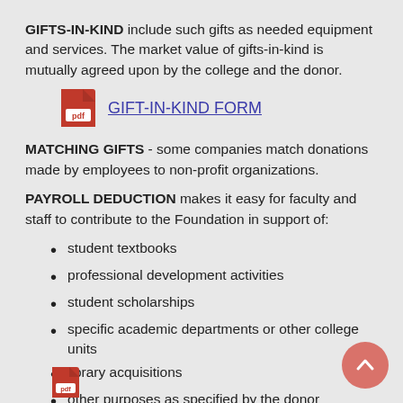GIFTS-IN-KIND include such gifts as needed equipment and services. The market value of gifts-in-kind is mutually agreed upon by the college and the donor.
[Figure (other): PDF icon with link labeled GIFT-IN-KIND FORM]
MATCHING GIFTS - some companies match donations made by employees to non-profit organizations.
PAYROLL DEDUCTION makes it easy for faculty and staff to contribute to the Foundation in support of:
student textbooks
professional development activities
student scholarships
specific academic departments or other college units
library acquisitions
other purposes as specified by the donor